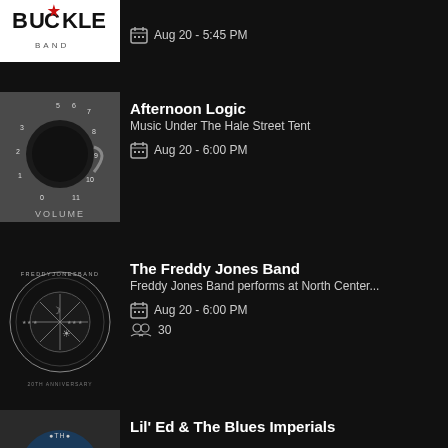[Figure (illustration): Buckle Band logo - partial, white text on black background with red star]
Aug 20 - 5:45 PM
[Figure (illustration): Afternoon Logic album cover - coffee cup clock on metal surface with VOLUME text]
Afternoon Logic
Music Under The Hale Street Tent
Aug 20 - 6:00 PM
[Figure (illustration): Freddy Jones Band circular logo - compass/sun design with FREDDYJONESBAND text around ring, 20th anniversary]
The Freddy Jones Band
Freddy Jones Band performs at North Center...
Aug 20 - 6:00 PM
30
[Figure (illustration): Lil Ed & The Blues Imperials partial logo]
Lil' Ed & The Blues Imperials